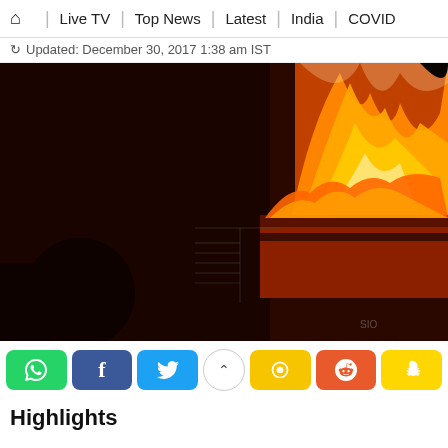🏠  Live TV  |  Top News  |  Latest  |  India  |  COVID
Updated: December 30, 2017 1:38 am IST
[Figure (photo): Night-time photograph of a building engulfed in fire, with large orange and yellow flames visible. Dark silhouette of a person or object in the foreground left. The right side of the image shows intense flames and smoke.]
Social share buttons: WhatsApp, Facebook, Twitter, scroll-up, Koo, Reddit, Snapchat
Highlights